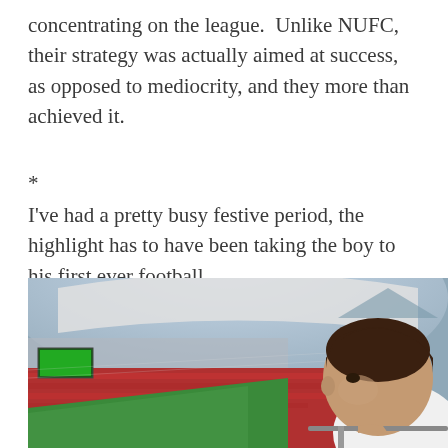concentrating on the league.  Unlike NUFC, their strategy was actually aimed at success, as opposed to mediocrity, and they more than achieved it.
*
I've had a pretty busy festive period, the highlight has to have been taking the boy to his first ever football
[Figure (photo): A young boy looking over his shoulder at a packed football stadium from the stands. The stadium is large and filled with spectators in red and white colors, with a green pitch visible below.]